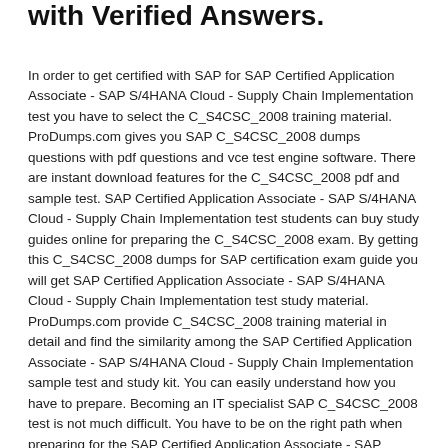with Verified Answers.
In order to get certified with SAP for SAP Certified Application Associate - SAP S/4HANA Cloud - Supply Chain Implementation test you have to select the C_S4CSC_2008 training material. ProDumps.com gives you SAP C_S4CSC_2008 dumps questions with pdf questions and vce test engine software. There are instant download features for the C_S4CSC_2008 pdf and sample test. SAP Certified Application Associate - SAP S/4HANA Cloud - Supply Chain Implementation test students can buy study guides online for preparing the C_S4CSC_2008 exam. By getting this C_S4CSC_2008 dumps for SAP certification exam guide you will get SAP Certified Application Associate - SAP S/4HANA Cloud - Supply Chain Implementation test study material. ProDumps.com provide C_S4CSC_2008 training material in detail and find the similarity among the SAP Certified Application Associate - SAP S/4HANA Cloud - Supply Chain Implementation sample test and study kit. You can easily understand how you have to prepare. Becoming an IT specialist SAP C_S4CSC_2008 test is not much difficult. You have to be on the right path when preparing for the SAP Certified Application Associate - SAP S/4HANA Cloud - Supply Chain